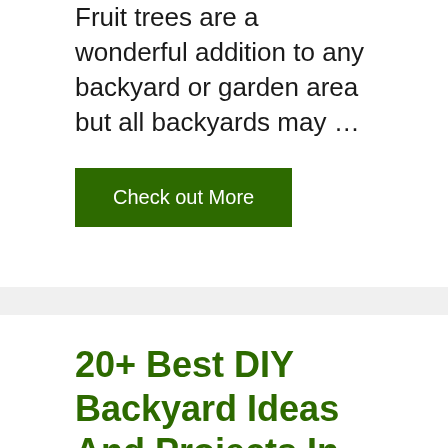Fruit trees are a wonderful addition to any backyard or garden area but all backyards may …
Check out More
20+ Best DIY Backyard Ideas And Projects In 2022
July 11, 2021